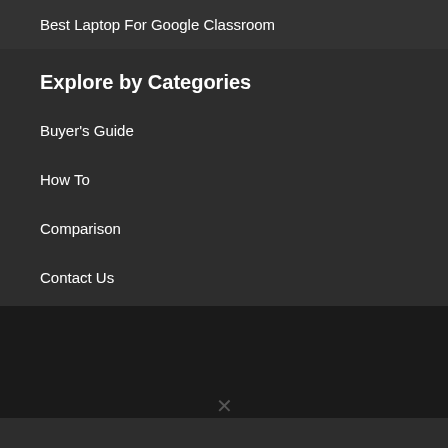Best Laptop For Google Classroom
Explore by Categories
Buyer's Guide
How To
Comparison
Contact Us